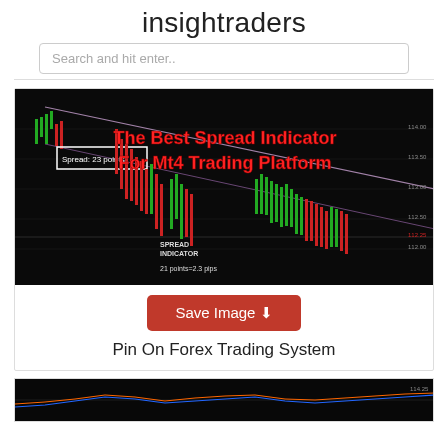insightraders
Search and hit enter..
[Figure (screenshot): MT4 trading chart screenshot showing candlestick price action on a dark background with two diagonal trendlines forming a descending channel. Red bold text overlay reads 'The Best Spread Indicator For Mt4 Trading Platform'. A white box in the upper left shows 'Spread: 23 points'. Lower section shows 'SPREAD INDICATOR' label and '21 points=2.3 pips'.]
Save Image
Pin On Forex Trading System
[Figure (screenshot): Partial view of another MT4 trading chart with colored indicators on dark background.]